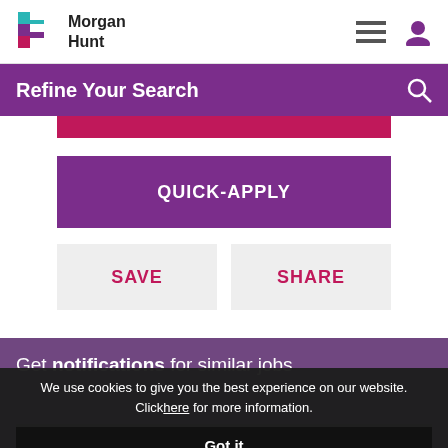[Figure (logo): Morgan Hunt logo with colorful blocks icon and company name]
Refine Your Search
QUICK-APPLY
SAVE
SHARE
Get notifications for similar jobs
We use cookies to give you the best experience on our website. Click here for more information.
Got it
Enter Email Address...